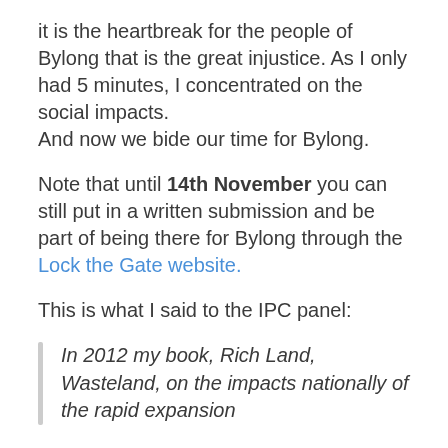it is the heartbreak for the people of Bylong that is the great injustice. As I only had 5 minutes, I concentrated on the social impacts.
And now we bide our time for Bylong.
Note that until 14th November you can still put in a written submission and be part of being there for Bylong through the Lock the Gate website.
This is what I said to the IPC panel:
In 2012 my book, Rich Land, Wasteland, on the impacts nationally of the rapid expansion